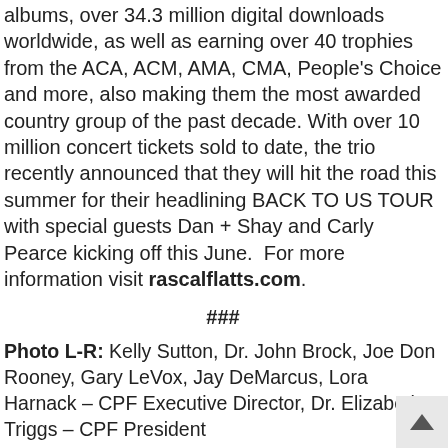albums, over 34.3 million digital downloads worldwide, as well as earning over 40 trophies from the ACA, ACM, AMA, CMA, People's Choice and more, also making them the most awarded country group of the past decade. With over 10 million concert tickets sold to date, the trio recently announced that they will hit the road this summer for their headlining BACK TO US TOUR with special guests Dan + Shay and Carly Pearce kicking off this June.  For more information visit rascalflatts.com.
###
Photo L-R: Kelly Sutton, Dr. John Brock, Joe Don Rooney, Gary LeVox, Jay DeMarcus, Lora Harnack – CPF Executive Director, Dr. Elizabeth Triggs – CPF President